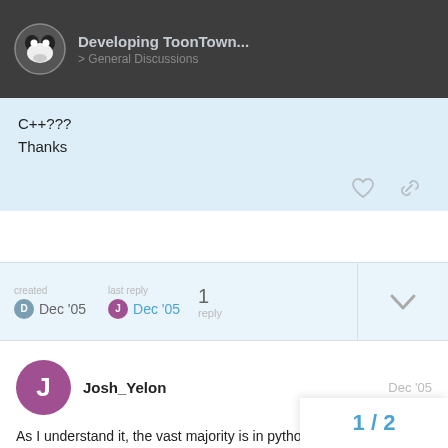Developing ToonTown... / General Discussions
C++???
Thanks
created Dec '05   last reply Dec '05   1 reply
Josh_Yelon   Dec '05
As I understand it, the vast majority is in python. I'm sure, however, that they occasionally added features to Panda (ie, the C++ part) to help them out.

If you write a big game with panda, I bet you'll make quite a bit of progress in python, but e... have to add a few C++ features to pa...
1 / 2